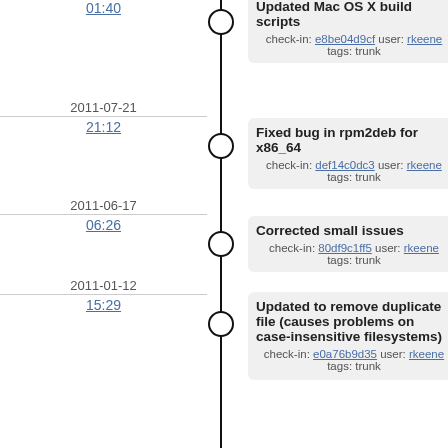01:40 | Updated Mac OS X build scripts | check-in: e8be04d9cf user: rkeene tags: trunk
2011-07-21 21:12 | Fixed bug in rpm2deb for x86_64 | check-in: def14c0dc3 user: rkeene tags: trunk
2011-06-17 06:26 | Corrected small issues | check-in: 80df9c1ff5 user: rkeene tags: trunk
2011-01-12 15:29 | Updated to remove duplicate file (causes problems on case-insensitive filesystems) | check-in: e0a76b9d35 user: rkeene tags: trunk
2010-10-27 23:30 | Fixed Snow Leopard OSX CACKey Package Build Issue | check-in: 17538042d7 user: kvanals tags: trunk
22:39 | Corrected directory permissions on CACKey